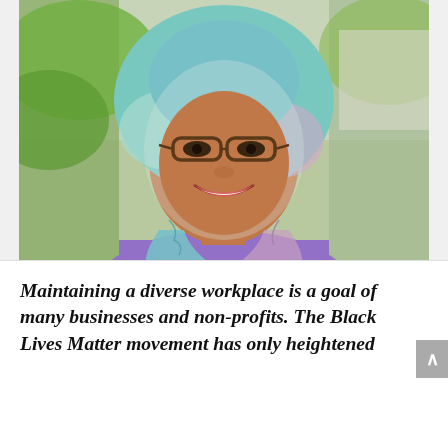[Figure (photo): Portrait photo of a smiling woman wearing glasses, a colorful paisley hijab in teal/blue/pink tones, and a purple blazer, photographed outdoors with green foliage in the background.]
Maintaining a diverse workplace is a goal of many businesses and non-profits. The Black Lives Matter movement has only heightened